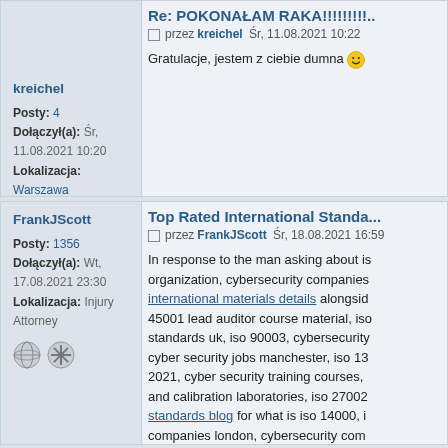Re: POKONAŁAM RAKA!!!!!!!!!
przez kreichel Śr, 11.08.2021 10:22
Gratulacje, jestem z ciebie dumna 😊
kreichel
Posty: 4
Dołączył(a): Śr, 11.08.2021 10:20
Lokalizacja: Warszawa
Top Rated International Standa...
przez FrankJScott Śr, 18.08.2021 16:59
In response to the man asking about is... organization, cybersecurity companies... international materials details alongside 45001 lead auditor course material, iso... standards uk, iso 90003, cybersecurity... cyber security jobs manchester, iso 13... 2021, cyber security training courses,... and calibration laboratories, iso 27002... standards blog for what is iso 14000, i... companies london, cybersecurity com... cybersecurity news now, iso 90001 au...
FrankJScott
Posty: 1356
Dołączył(a): Wt, 17.08.2021 23:30
Lokalizacja: Injury Attorney